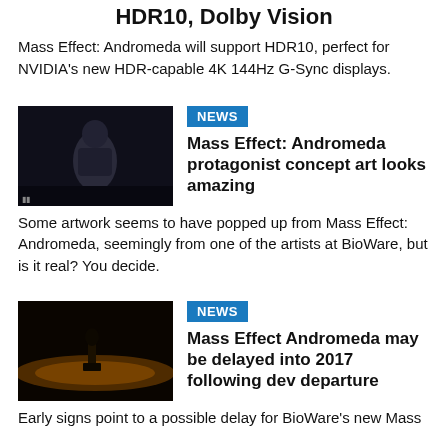HDR10, Dolby Vision
Mass Effect: Andromeda will support HDR10, perfect for NVIDIA's new HDR-capable 4K 144Hz G-Sync displays.
[Figure (photo): Dark thumbnail showing a Mass Effect Andromeda character in armor]
NEWS
Mass Effect: Andromeda protagonist concept art looks amazing
Some artwork seems to have popped up from Mass Effect: Andromeda, seemingly from one of the artists at BioWare, but is it real? You decide.
[Figure (photo): Dark thumbnail showing a figure on a planet surface with a glowing horizon]
NEWS
Mass Effect Andromeda may be delayed into 2017 following dev departure
Early signs point to a possible delay for BioWare's new Mass